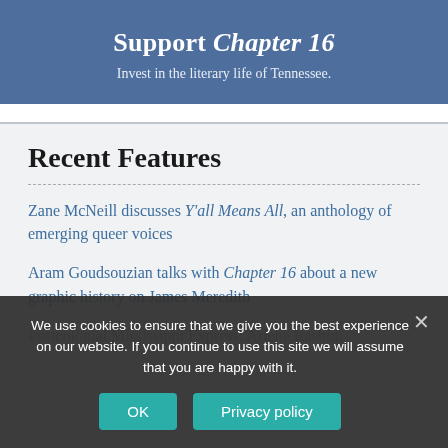Support Chapter 16
Invest in the literary life of Tennessee.
Recent Features
Zane McNeill discusses Y'all Means All, an anthology of emerging queer voices
Aram Goudsouzian talks with Chapter 16 about a new graphic history on James Meredith
Postcolonial Mississippi Express: Arlene Rashidi
We use cookies to ensure that we give you the best experience on our website. If you continue to use this site we will assume that you are happy with it.